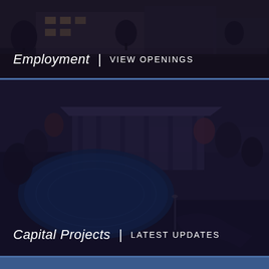[Figure (photo): Dark-toned aerial or street-level photo of a building with trees, overlaid with a dark semi-transparent gradient. Serves as background for the Employment section.]
Employment  |  VIEW OPENINGS
[Figure (illustration): Aerial rendering illustration of a community recreational facility with a curved swimming pool, pavilion structure, trees, and parking area. Dark blue/purple overlay tint.]
Capital Projects  |  LATEST UPDATES